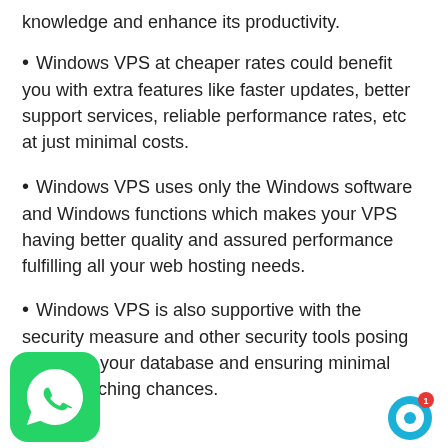knowledge and enhance its productivity.
• Windows VPS at cheaper rates could benefit you with extra features like faster updates, better support services, reliable performance rates, etc at just minimal costs.
• Windows VPS uses only the Windows software and Windows functions which makes your VPS having better quality and assured performance fulfilling all your web hosting needs.
• Windows VPS is also supportive with the security measure and other security tools posing no risk to your database and ensuring minimal data breaching chances.
[Figure (illustration): WhatsApp icon at bottom left]
[Figure (illustration): Chat support icon with notification badge at bottom right]